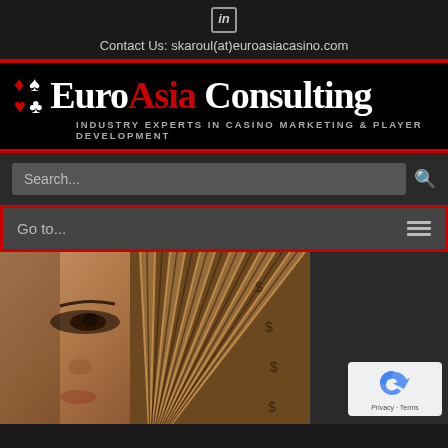[Figure (logo): LinkedIn icon (in) in a rounded rectangle]
Contact Us: skaroul(at)euroasiacasino.com
[Figure (logo): EuroAsia Consulting logo with card suit symbols (diamond, spade, heart, club) and tagline INDUSTRY EXPERTS IN CASINO MARKETING & PLAYER DEVELOPMENT]
[Figure (screenshot): Search bar with placeholder 'Search...' and search icon]
[Figure (screenshot): Navigation bar with 'Go to...' text and hamburger menu icon]
[Figure (photo): Close-up photo of an Asian woman's eye partially hidden behind a decorative fan, next to a dark grey panel with a reCAPTCHA badge showing Privacy and Terms links]